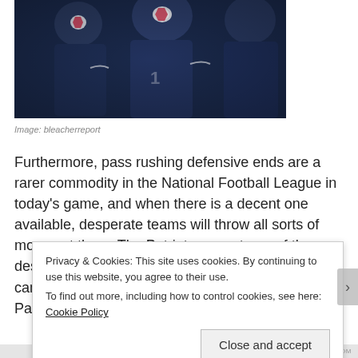[Figure (photo): New England Patriots players in navy blue jerseys and helmets with Patriots logo]
Image: bleacherreport
Furthermore, pass rushing defensive ends are a rarer commodity in the National Football League in today’s game, and when there is a decent one available, desperate teams will throw all sorts of money at them. The Patriots are not one of those desperate teams. Bill Belichick has proven that he can get by without that elite pass rusher that Patriots fans have been craving for.
Privacy & Cookies: This site uses cookies. By continuing to use this website, you agree to their use.
To find out more, including how to control cookies, see here: Cookie Policy
Close and accept